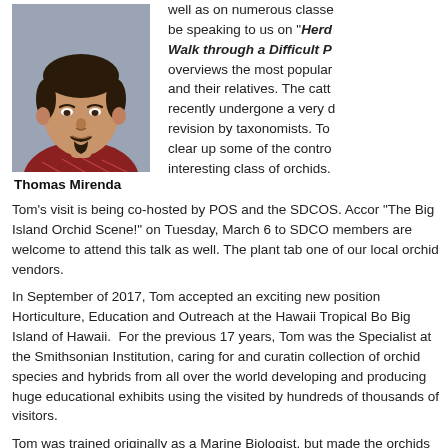[Figure (photo): Headshot photo of Thomas Mirenda, a man with dark hair and goatee wearing a red patterned shirt, against a gray background.]
Thomas Mirenda
well as on numerous classes be speaking to us on "Herd Walk through a Difficult P overviews the most popular and their relatives. The catt recently undergone a very d revision by taxonomists. To clear up some of the contro interesting class of orchids.
Tom's visit is being co-hosted by POS and the SDCOS. Accor "The Big Island Orchid Scene!" on Tuesday, March 6 to SDCO members are welcome to attend this talk as well. The plant tab one of our local orchid vendors.
In September of 2017, Tom accepted an exciting new position Horticulture, Education and Outreach at the Hawaii Tropical Bo Big Island of Hawaii.  For the previous 17 years, Tom was the Specialist at the Smithsonian Institution, caring for and curatin collection of orchid species and hybrids from all over the world developing and producing huge educational exhibits using the visited by hundreds of thousands of visitors.
Tom was trained originally as a Marine Biologist, but made the orchids in his late 20s while living in Hawaii.  Since then he has